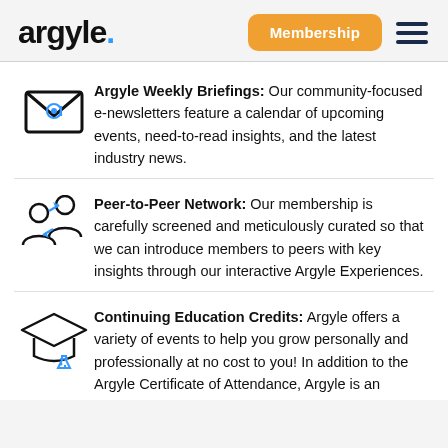argyle. Membership
Argyle Weekly Briefings: Our community-focused e-newsletters feature a calendar of upcoming events, need-to-read insights, and the latest industry news.
Peer-to-Peer Network: Our membership is carefully screened and meticulously curated so that we can introduce members to peers with key insights through our interactive Argyle Experiences.
Continuing Education Credits: Argyle offers a variety of events to help you grow personally and professionally at no cost to you! In addition to the Argyle Certificate of Attendance, Argyle is an